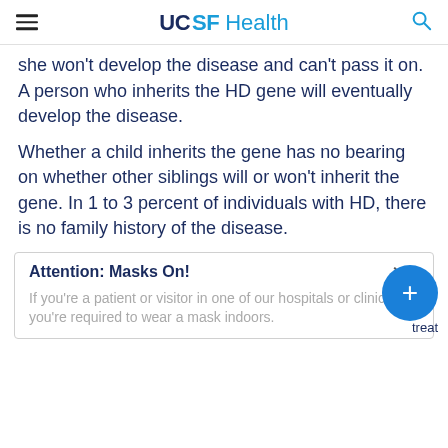UCSF Health
she won't develop the disease and can't pass it on. A person who inherits the HD gene will eventually develop the disease.
Whether a child inherits the gene has no bearing on whether other siblings will or won't inherit the gene. In 1 to 3 percent of individuals with HD, there is no family history of the disease.
Attention: Masks On!

If you're a patient or visitor in one of our hospitals or clinics, you're required to wear a mask indoors.